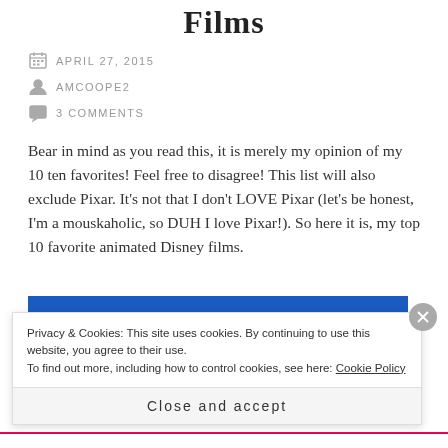Films
APRIL 27, 2015
AMCOOPE2
3 COMMENTS
Bear in mind as you read this, it is merely my opinion of my 10 ten favorites!  Feel free to disagree!  This list will also exclude Pixar.  It's not that I don't LOVE Pixar (let's be honest, I'm a mouskaholic, so DUH I love Pixar!).  So here it is, my top 10 favorite animated Disney films.
[Figure (photo): Blue sky background, likely a Disney castle screenshot]
Privacy & Cookies: This site uses cookies. By continuing to use this website, you agree to their use.
To find out more, including how to control cookies, see here: Cookie Policy
Close and accept